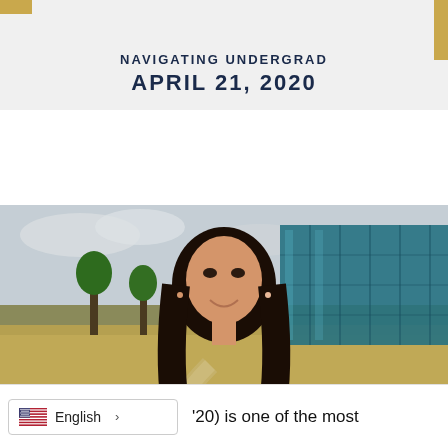NAVIGATING UNDERGRAD
APRIL 21, 2020
[Figure (photo): Young woman with long dark hair smiling outdoors on a university campus, with a modern glass building and green landscaping in the background]
'20) is one of the most